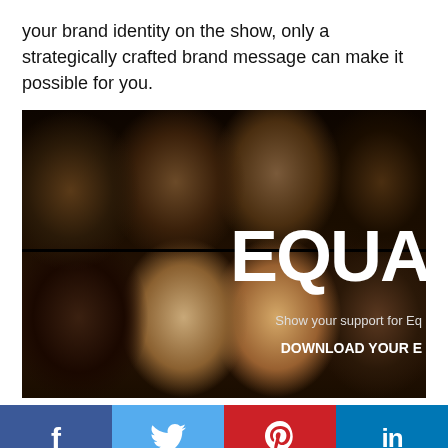your brand identity on the show, only a strategically crafted brand message can make it possible for you.
[Figure (photo): Dark promotional image showing multiple faces of people with the text 'EQUA' in large white bold letters, 'Show your support for Eq' and 'DOWNLOAD YOUR E' text overlaid on the image.]
f  [Twitter bird icon]  [Pinterest P icon]  in